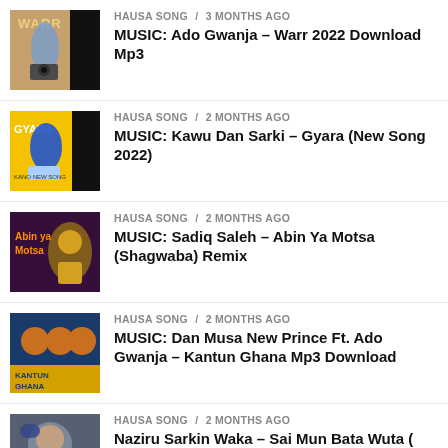HAUSA SONG / 3 months ago
MUSIC: Ado Gwanja – Warr 2022 Download Mp3
HAUSA SONG / 2 months ago
MUSIC: Kawu Dan Sarki – Gyara (New Song 2022)
HAUSA SONG / 2 months ago
MUSIC: Sadiq Saleh – Abin Ya Motsa (Shagwaba) Remix
HAUSA SONG / 2 months ago
MUSIC: Dan Musa New Prince Ft. Ado Gwanja – Kantun Ghana Mp3 Download
HAUSA SONG / 2 months ago
Naziru Sarkin Waka – Sai Mun Bata Wuta ( Wakar Atiku Abubakar PDP 2022 )